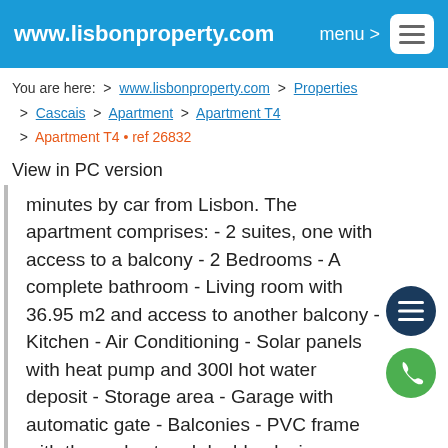www.lisbonproperty.com   menu >
You are here:  >  www.lisbonproperty.com  >  Properties  >  Cascais  >  Apartment  >  Apartment T4  >  Apartment T4 • ref 26832
View in PC version
minutes by car from Lisbon. The apartment comprises: - 2 suites, one with access to a balcony - 2 Bedrooms - A complete bathroom - Living room with 36.95 m2 and access to another balcony - Kitchen - Air Conditioning - Solar panels with heat pump and 300l hot water deposit - Storage area - Garage with automatic gate - Balconies - PVC frame with thermal cut and double glazing - Blackout//Electric blinds with remote control .– Fireplace – Central Vacuum– Elevator Parking and garage for 3 vehicles. Area very close to all types of services.